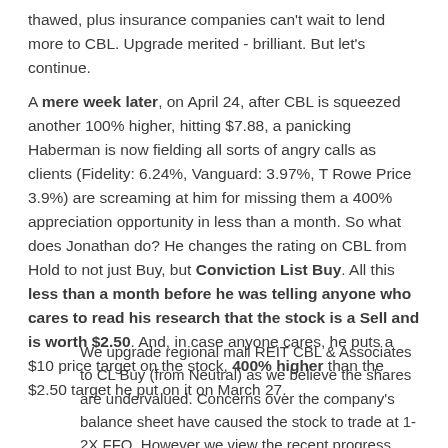thawed, plus insurance companies can't wait to lend more to CBL. Upgrade merited - brilliant. But let's continue.
A mere week later, on April 24, after CBL is squeezed another 100% higher, hitting $7.88, a panicking Haberman is now fielding all sorts of angry calls as clients (Fidelity: 6.24%, Vanguard: 3.97%, T Rowe Price 3.9%) are screaming at him for missing them a 400% appreciation opportunity in less than a month. So what does Jonathan do? He changes the rating on CBL from Hold to not just Buy, but Conviction List Buy. All this less than a month before he was telling anyone who cares to read his research that the stock is a Sell and is worth $2.50. And, in case anyone cares, he puts a $10 price target on the stock, 400% higher than the $2.50 target he put on it on March 27.
We upgrade regional mall REIT CBL & Associates to CL Buy (from Neutral) as we believe the shares are undervalued. Concerns over the company's balance sheet have caused the stock to trade at 1-2X FFO. However we view the recent progress made on refinancing activity